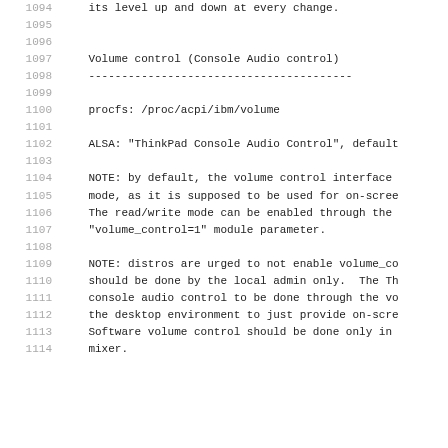1094        its level up and down at every change.
1095
1096
1097    Volume control (Console Audio control)
1098    ----------------------------------------
1099
1100    procfs: /proc/acpi/ibm/volume
1101
1102    ALSA: "ThinkPad Console Audio Control", default
1103
1104    NOTE: by default, the volume control interface
1105    mode, as it is supposed to be used for on-scree
1106    The read/write mode can be enabled through the
1107    "volume_control=1" module parameter.
1108
1109    NOTE: distros are urged to not enable volume_co
1110    should be done by the local admin only.  The Th
1111    console audio control to be done through the vo
1112    the desktop environment to just provide on-scre
1113    Software volume control should be done only in
1114    mixer.